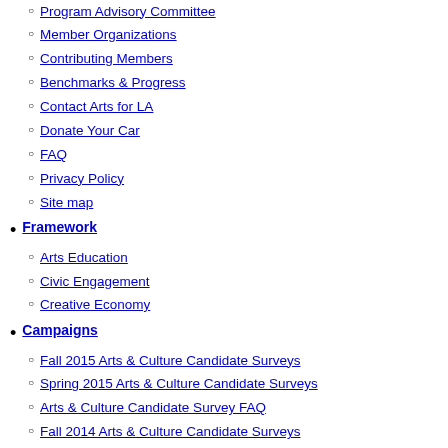Program Advisory Committee
Member Organizations
Contributing Members
Benchmarks & Progress
Contact Arts for LA
Donate Your Car
FAQ
Privacy Policy
Site map
Framework
Arts Education
Civic Engagement
Creative Economy
Campaigns
Fall 2015 Arts & Culture Candidate Surveys
Spring 2015 Arts & Culture Candidate Surveys
Arts & Culture Candidate Survey FAQ
Fall 2014 Arts & Culture Candidate Surveys
Spring 2014 Arts & Culture Candidate Survey Archive
Arts Education
Resources
Find Your Elected Representatives
Register to Vote
Cultural Policy Map
Arts Advocacy Toolkit